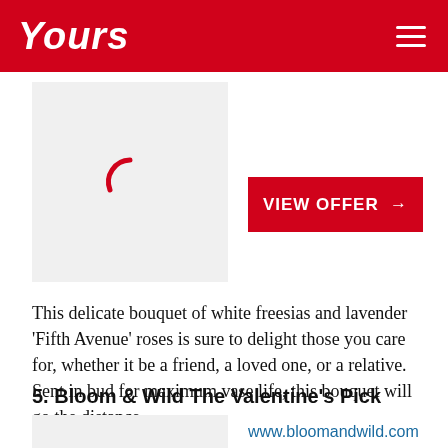Yours
[Figure (photo): Loading image placeholder with red spinner arc, and a red VIEW OFFER button with arrow]
This delicate bouquet of white freesias and lavender 'Fifth Avenue' roses is sure to delight those you care for, whether it be a friend, a loved one, or a relative. Sent in bud for maximum vase life, this bouquet will go the distance.
5. Bloom & Wild The Valentine's Pick
[Figure (photo): Partially visible product image placeholder]
www.bloomandwild.com